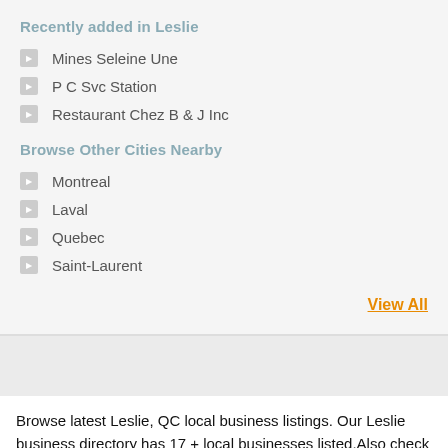Recently added in Leslie
Mines Seleine Une
P C Svc Station
Restaurant Chez B & J Inc
Browse Other Cities Nearby
Montreal
Laval
Quebec
Saint-Laurent
View All
Browse latest Leslie, QC local business listings. Our Leslie business directory has 17 + local businesses listed.Also check out popular businesses in Montreal business directory, Laval business directory and